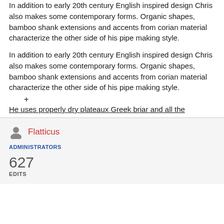In addition to early 20th century English inspired design Chris also makes some contemporary forms. Organic shapes, bamboo shank extensions and accents from corian material characterize the other side of his pipe making style.
In addition to early 20th century English inspired design Chris also makes some contemporary forms. Organic shapes, bamboo shank extensions and accents from corian material characterize the other side of his pipe making style.
+
He uses properly dry plateaux Greek briar and all the
Flatticus
ADMINISTRATORS
627
EDITS